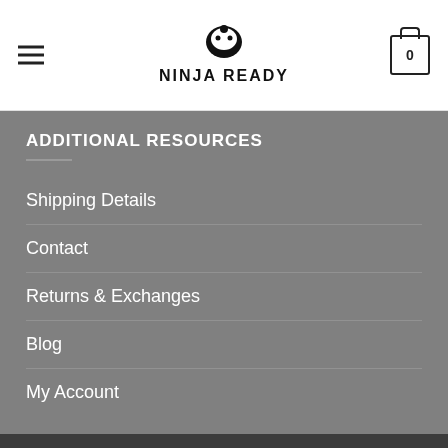NINJA READY
ADDITIONAL RESOURCES
Shipping Details
Contact
Returns & Exchanges
Blog
My Account
Copyright 2022 © NinjaReady.com. Privacy Policy | Terms &